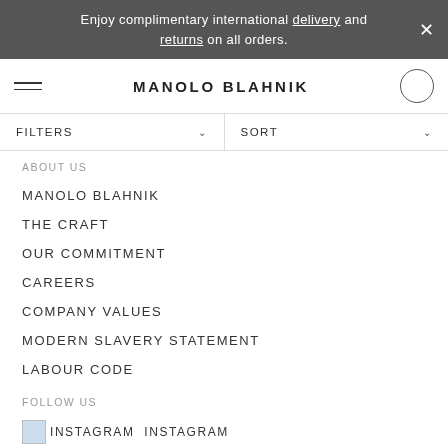Enjoy complimentary international delivery and returns on all orders.
MANOLO BLAHNIK
FILTERS   SORT
ABOUT US
MANOLO BLAHNIK
THE CRAFT
OUR COMMITMENT
CAREERS
COMPANY VALUES
MODERN SLAVERY STATEMENT
LABOUR CODE
FOLLOW US
INSTAGRAM
FACEBOOK